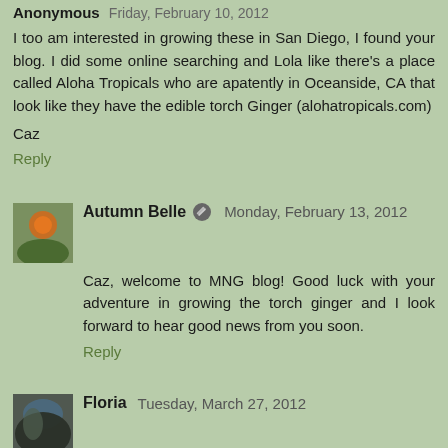Anonymous  Friday, February 10, 2012
I too am interested in growing these in San Diego, I found your blog. I did some online searching and Lola like there's a place called Aloha Tropicals who are apatently in Oceanside, CA that look like they have the edible torch Ginger (alohatropicals.com)
Caz
Reply
Autumn Belle  Monday, February 13, 2012
Caz, welcome to MNG blog! Good luck with your adventure in growing the torch ginger and I look forward to hear good news from you soon.
Reply
Floria  Tuesday, March 27, 2012
I stumbled upon your blog when I tried to google on bunga kantan. I am Malaysian living in Houston, TX. I did try to